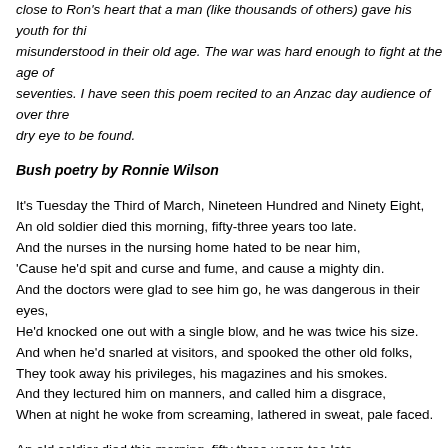close to Ron's heart that a man (like thousands of others) gave his youth for thi... misunderstood in their old age. The war was hard enough to fight at the age of... seventies. I have seen this poem recited to an Anzac day audience of over thre... dry eye to be found.
Bush poetry by Ronnie Wilson
It's Tuesday the Third of March, Nineteen Hundred and Ninety Eight,
An old soldier died this morning, fifty-three years too late.
And the nurses in the nursing home hated to be near him,
'Cause he'd spit and curse and fume, and cause a mighty din.
And the doctors were glad to see him go, he was dangerous in their eyes,
He'd knocked one out with a single blow, and he was twice his size.
And when he'd snarled at visitors, and spooked the other old folks,
They took away his privileges, his magazines and his smokes.
And they lectured him on manners, and called him a disgrace,
When at night he woke from screaming, lathered in sweat, pale faced.
An old soldier died this morning, fifty three years too late,
But the nursing home's not mourning, for the latest turn of fate.
And the doctor chatting to the pretty nurse, has something else in mind,
Cause soon he'll be on the golf course, with others of his kind.
And from cross the road, the wind will bring the sound of children's laughter,
And in the tree's the birds will sing, and will forever after.
The day goes on and before very long, the passing might never have been,